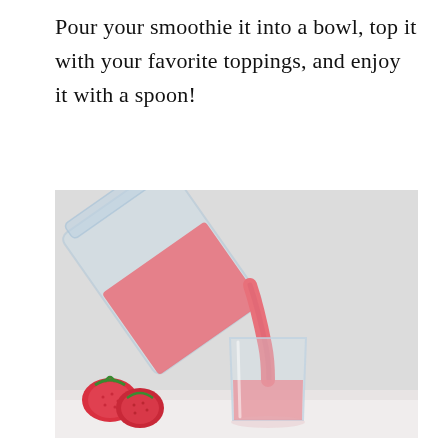Pour your smoothie it into a bowl, top it with your favorite toppings, and enjoy it with a spoon!
[Figure (photo): A clear blender pouring pink strawberry smoothie into a clear glass. Fresh strawberries visible in the bottom left corner. Light gray/white background. The smoothie is a vibrant pink/salmon color.]